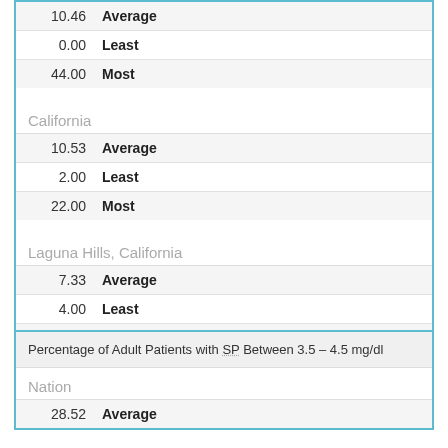| Value | Stat |
| --- | --- |
| 10.46 | Average |
| 0.00 | Least |
| 44.00 | Most |
California
| Value | Stat |
| --- | --- |
| 10.53 | Average |
| 2.00 | Least |
| 22.00 | Most |
Laguna Hills, California
| Value | Stat |
| --- | --- |
| 7.33 | Average |
| 4.00 | Least |
| 9.00 | Most |
Percentage of Adult Patients with SP Between 3.5 – 4.5 mg/dl
Nation
| Value | Stat |
| --- | --- |
| 28.52 | Average |